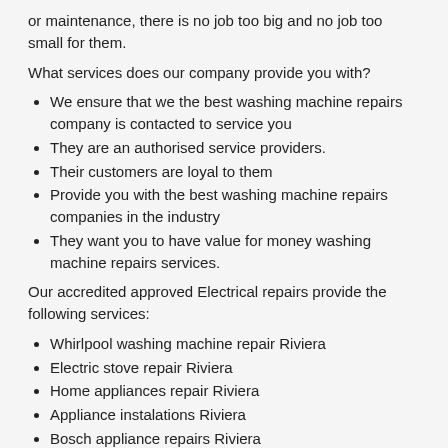or maintenance, there is no job too big and no job too small for them.
What services does our company provide you with?
We ensure that we the best washing machine repairs company is contacted to service you
They are an authorised service providers.
Their customers are loyal to them
Provide you with the best washing machine repairs companies in the industry
They want you to have value for money washing machine repairs services.
Our accredited approved Electrical repairs provide the following services:
Whirlpool washing machine repair Riviera
Electric stove repair Riviera
Home appliances repair Riviera
Appliance instalations Riviera
Bosch appliance repairs Riviera
Ice maker repair Riviera
Oven repair Riviera
Washing machine repairs Riviera
Electrical appliances repairs Riviera
Ge appliances repairs Riviera
Freezer repair Riviera
Lg washing machine repairs Riviera